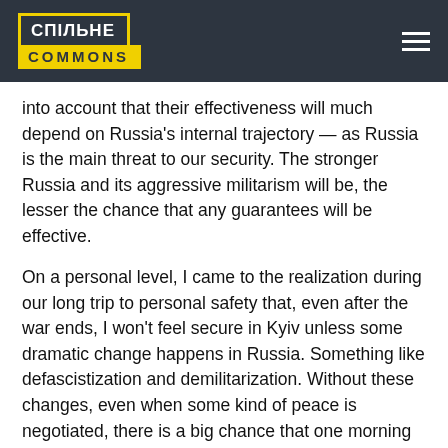СПІЛЬНЕ COMMONS
into account that their effectiveness will much depend on Russia's internal trajectory — as Russia is the main threat to our security. The stronger Russia and its aggressive militarism will be, the lesser the chance that any guarantees will be effective.
On a personal level, I came to the realization during our long trip to personal safety that, even after the war ends, I won't feel secure in Kyiv unless some dramatic change happens in Russia. Something like defascistization and demilitarization. Without these changes, even when some kind of peace is negotiated, there is a big chance that one morning — maybe in months, maybe in years — I will wake up to bombing again.
Your question was about expectations for the peace negotiations, but I want to add another expectation, which